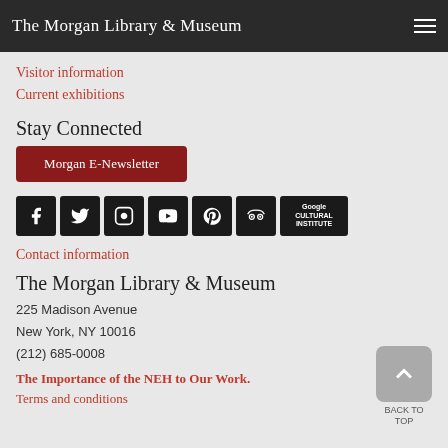The Morgan Library & Museum
Visitor information
Current exhibitions
Stay Connected
Morgan E-Newsletter
[Figure (other): Social media icons: Facebook, Twitter, Instagram, YouTube, Pinterest, TripAdvisor, Google Cultural Institute]
Contact information
The Morgan Library & Museum
225 Madison Avenue
New York, NY 10016
(212) 685-0008
The Importance of the NEH to Our Work.
Terms and conditions